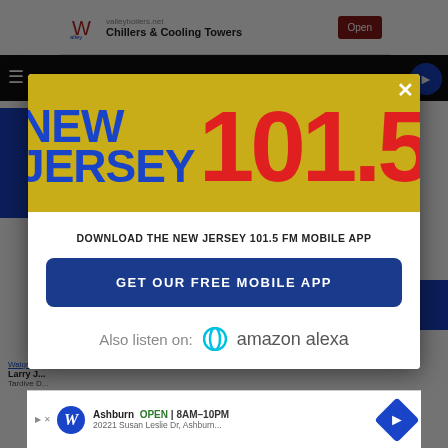[Figure (screenshot): Screenshot of a webpage showing a modal popup for New Jersey 101.5 FM radio station app download, overlaid on a news website. The modal has a yellow header with the 'NEW JERSEY 101.5' logo in blue and red, a white body with text 'DOWNLOAD THE NEW JERSEY 101.5 FM MOBILE APP', a blue button 'GET OUR FREE MOBILE APP', and 'Also listen on: [Alexa icon] amazon alexa'. Behind the modal is an ad for Valley Chillers & Cooling Towers at top and Walgreens at bottom. A close (x) button is at top right of modal.]